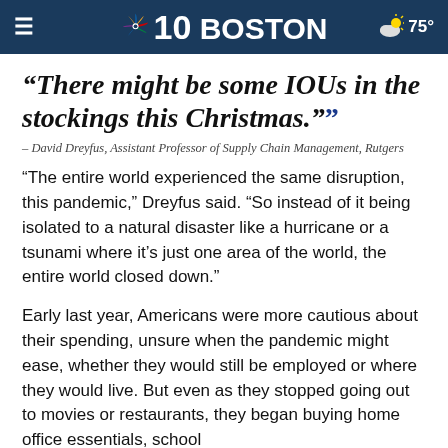NBC10 BOSTON | 75°
“There might be some IOUs in the stockings this Christmas.””
– David Dreyfus, Assistant Professor of Supply Chain Management, Rutgers
“The entire world experienced the same disruption, this pandemic,” Dreyfus said. “So instead of it being isolated to a natural disaster like a hurricane or a tsunami where it’s just one area of the world, the entire world closed down.”
Early last year, Americans were more cautious about their spending, unsure when the pandemic might ease, whether they would still be employed or where they would live. But even as they stopped going out to movies or restaurants, they began buying home office essentials, school